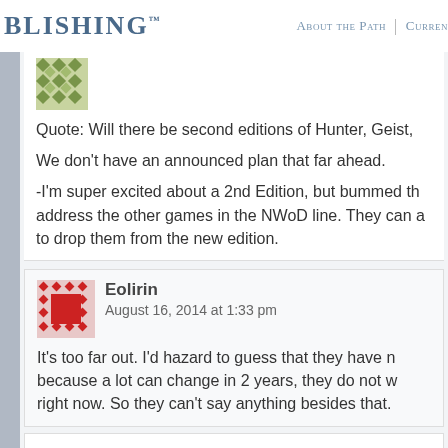BLISHING™  About the Path | Curren
Quote: Will there be second editions of Hunter, Geist,
We don't have an announced plan that far ahead.
-I'm super excited about a 2nd Edition, but bummed that it doesn't address the other games in the NWoD line. They can a... to drop them from the new edition.
Eolirin
August 16, 2014 at 1:33 pm
It's too far out. I'd hazard to guess that they have n... because a lot can change in 2 years, they do not w... right now. So they can't say anything besides that...